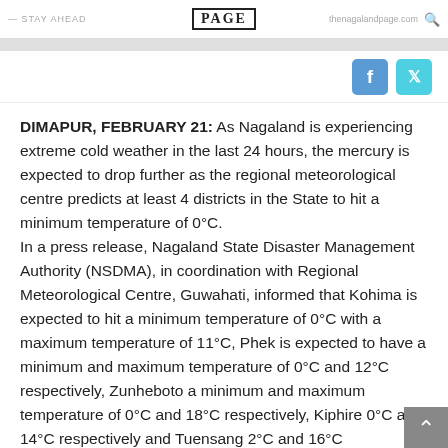PAGE
DIMAPUR, FEBRUARY 21: As Nagaland is experiencing extreme cold weather in the last 24 hours, the mercury is expected to drop further as the regional meteorological centre predicts at least 4 districts in the State to hit a minimum temperature of 0°C. In a press release, Nagaland State Disaster Management Authority (NSDMA), in coordination with Regional Meteorological Centre, Guwahati, informed that Kohima is expected to hit a minimum temperature of 0°C with a maximum temperature of 11°C, Phek is expected to have a minimum and maximum temperature of 0°C and 12°C respectively, Zunheboto a minimum and maximum temperature of 0°C and 18°C respectively, Kiphire 0°C and 14°C respectively and Tuensang 2°C and 16°C